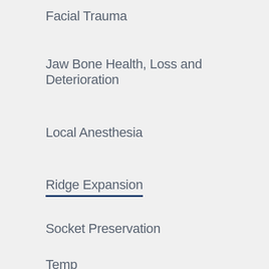Facial Trauma
Jaw Bone Health, Loss and Deterioration
Local Anesthesia
Ridge Expansion
Socket Preservation
Temp...